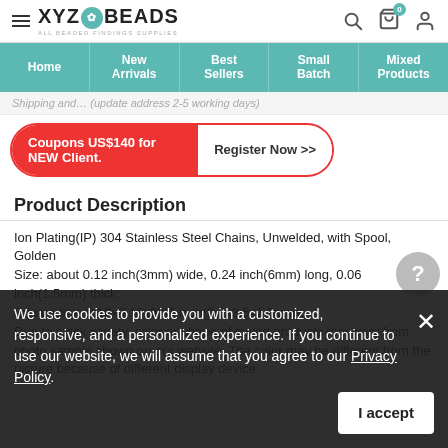XYZ Beads - ALL BEADED FINDINGS SUPPLIES
Home | New Arrivals | Best Sellers | Small Batch | Mixed Products
Shipping and… (update address 2-5 working days)
Coupons US$140 for NEW Client.   Register Now >>
Product Description
Ion Plating(IP) 304 Stainless Steel Chains, Unwelded, with Spool, Golden
Size: about 0.12 inch(3mm) wide, 0.24 inch(6mm) long, 0.06 inch(1.5mm) thick;
Square link: 0.10x0.10x0.06 inch(2.5x2.5x1.5mm);
Due to stock variety, color or shape of mixed products may vary from photo sample shown on our website. The color may be different from the picture because of different display device.
We use cookies to provide you with a customized, responsive, and a personalized experience. If you continue to use our website, we will assume that you agree to our Privacy Policy.